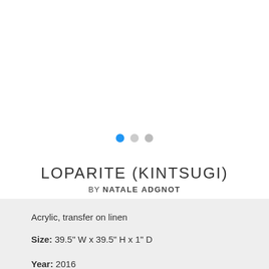[Figure (other): Navigation dots: one blue filled circle, one gray circle, one lighter gray circle, indicating image carousel position]
LOPARITE (KINTSUGI)
BY NATALE ADGNOT
Acrylic, transfer on linen
Size: 39.5" W x 39.5" H x 1" D
Year: 2016